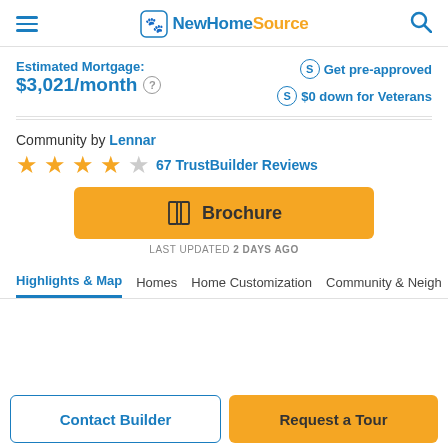NewHomeSource
Estimated Mortgage: $3,021/month
Get pre-approved
$0 down for Veterans
Community by Lennar
★★★★☆ 67 TrustBuilder Reviews
Brochure
LAST UPDATED 2 DAYS AGO
Highlights & Map  Homes  Home Customization  Community & Neigh▶
Contact Builder
Request a Tour